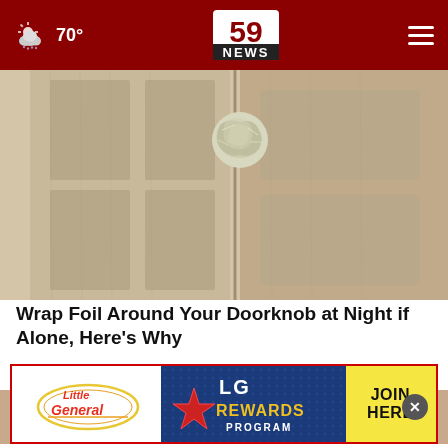59 NEWS | 70°
[Figure (photo): Close-up photo of a wooden door with a doorknob wrapped in aluminum foil]
Wrap Foil Around Your Doorknob at Night if Alone, Here's Why
Sogoodly
[Figure (photo): Close-up of a woman's eyes and forehead with dark hair]
[Figure (other): Advertisement banner: Little General - LG Rewards Program - JOIN HERE]